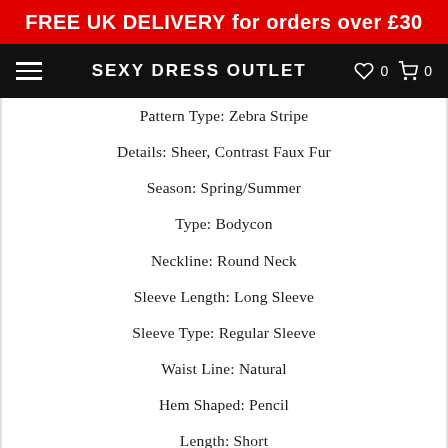FREE UK DELIVERY for orders over £30
SEXY DRESS OUTLET
Pattern Type: Zebra Stripe
Details: Sheer, Contrast Faux Fur
Season: Spring/Summer
Type: Bodycon
Neckline: Round Neck
Sleeve Length: Long Sleeve
Sleeve Type: Regular Sleeve
Waist Line: Natural
Hem Shaped: Pencil
Length: Short
Fit Type: Slim Fit
Fabric: Slight Stretch
Material: M...